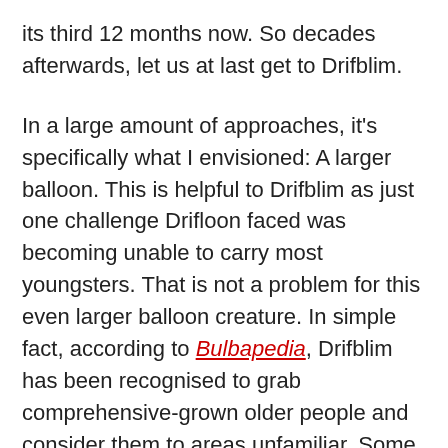its third 12 months now. So decades afterwards, let us at last get to Drifblim.
In a large amount of approaches, it's specifically what I envisioned: A larger balloon. This is helpful to Drifblim as just one challenge Drifloon faced was becoming unable to carry most youngsters. That is not a problem for this even larger balloon creature. In simple fact, according to Bulbapedia, Drifblim has been recognised to grab comprehensive-grown older people and consider them to areas unfamiliar. Some speculate that it's truly carrying them to the other aspect.
G/O Media could get a commission
But I think there's a a lot more apparent and